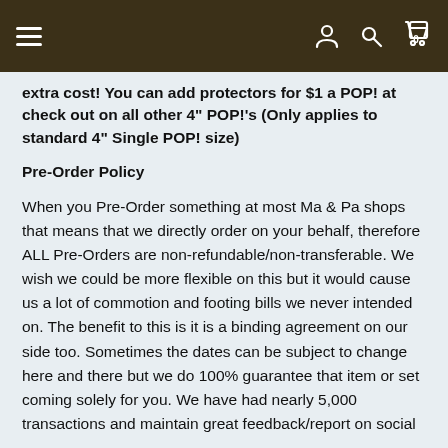Menu | Account | Search | Cart (0)
extra cost! You can add protectors for $1 a POP! at check out on all other 4" POP!'s (Only applies to standard 4" Single POP! size)
Pre-Order Policy
When you Pre-Order something at most Ma & Pa shops that means that we directly order on your behalf, therefore ALL Pre-Orders are non-refundable/non-transferable. We wish we could be more flexible on this but it would cause us a lot of commotion and footing bills we never intended on. The benefit to this is it is a binding agreement on our side too. Sometimes the dates can be subject to change here and there but we do 100% guarantee that item or set coming solely for you. We have had nearly 5,000 transactions and maintain great feedback/report on social